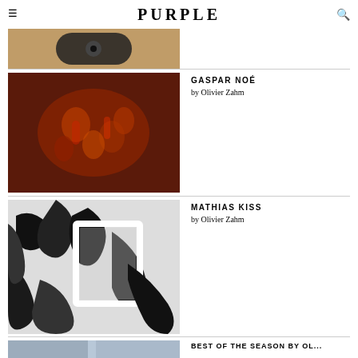PURPLE
[Figure (photo): Partial view of article thumbnail showing a hand on a dark percussion instrument on a plaid surface]
[Figure (photo): Overhead view of multiple people lying/dancing on a dark red floor, seen from above]
GASPAR NOÉ
by Olivier Zahm
[Figure (photo): Black and white photo of abstract artwork or window frame with bold black brushstrokes]
MATHIAS KISS
by Olivier Zahm
[Figure (photo): Partial thumbnail visible at bottom of page]
BEST OF THE SEASON BY OL...